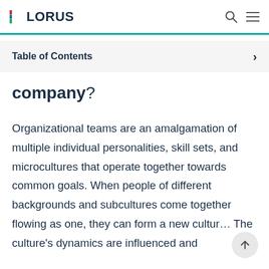ELORUS
Table of Contents
company?
Organizational teams are an amalgamation of multiple individual personalities, skill sets, and microcultures that operate together towards common goals. When people of different backgrounds and subcultures come together flowing as one, they can form a new culture. The culture's dynamics are influenced and